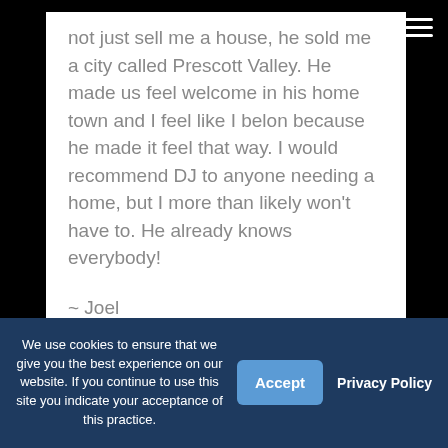not just sell me a house, he sold me a city called Prescott Valley. He made us feel welcome in his home town and I feel like I belon because he made it feel that way. I would recommend DJ to anyone needing a home, but I more than likely won't have to. He already knows everybody!
~ Joel
On behalf of DJ Walters
We use cookies to ensure that we give you the best experience on our website. If you continue to use this site you indicate your acceptance of this practice.